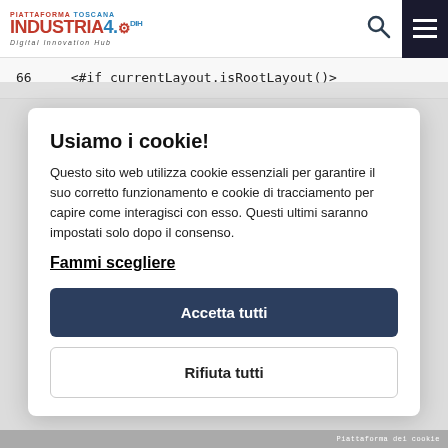PIATTAFORMA TOSCANA INDUSTRIA4.0 DIH Digital Innovation Hub
66    <#if currentLayout.isRootLayout()>
Usiamo i cookie!
Questo sito web utilizza cookie essenziali per garantire il suo corretto funzionamento e cookie di tracciamento per capire come interagisci con esso. Questi ultimi saranno impostati solo dopo il consenso.
Fammi scegliere
Accetta tutti
Rifiuta tutti